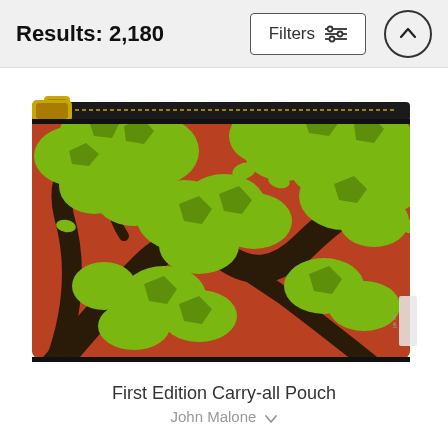Results: 2,180
[Figure (photo): A carry-all pouch with a tree branch and green leaves design on a red/rust background, featuring a gold zipper at the top. A small brand label is visible on the right side.]
First Edition Carry-all Pouch
John Malone